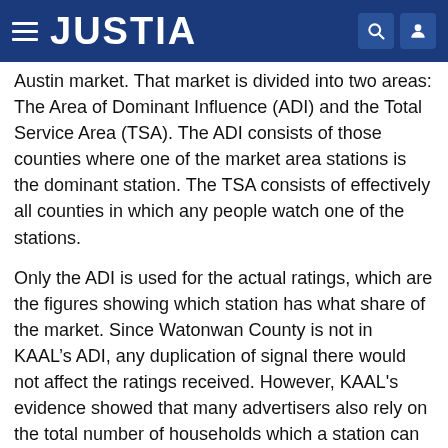JUSTIA
Austin market. That market is divided into two areas: The Area of Dominant Influence (ADI) and the Total Service Area (TSA). The ADI consists of those counties where one of the market area stations is the dominant station. The TSA consists of effectively all counties in which any people watch one of the stations.
Only the ADI is used for the actual ratings, which are the figures showing which station has what share of the market. Since Watonwan County is not in KAAL’s ADI, any duplication of signal there would not affect the ratings received. However, KAAL's evidence showed that many advertisers also rely on the total number of households which a station can deliver, which is calculated for the TSA. Watonwan County is within KAAL's TSA so changes could affect the household count for the TSA.